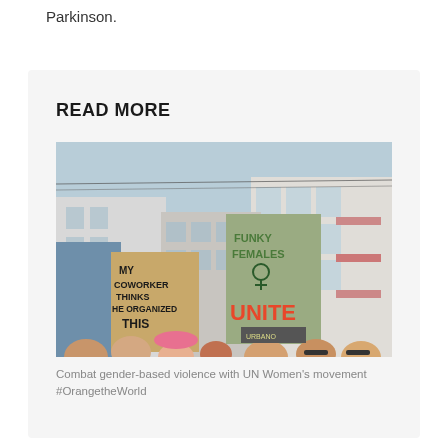Parkinson.
READ MORE
[Figure (photo): Protest march photo showing people holding signs. One sign reads 'MY COWORKER THINKS HE ORGANIZED THIS' and another reads 'FUNKY FEMALES UNITE' with a female symbol. Buildings visible in background.]
Combat gender-based violence with UN Women's movement #OrangetheWorld